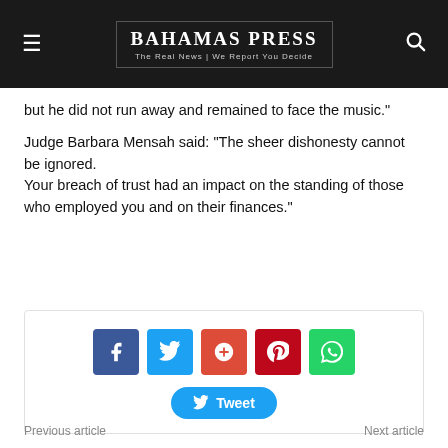Bahamas Press — The Real News | We Report You Decide
but he did not run away and remained to face the music."
Judge Barbara Mensah said: “The sheer dishonesty cannot be ignored.
Your breach of trust had an impact on the standing of those who employed you and on their finances.”
[Figure (infographic): Social media share buttons: Facebook, Twitter, Google+, Pinterest, WhatsApp, and a Tweet button]
Previous article   Next article